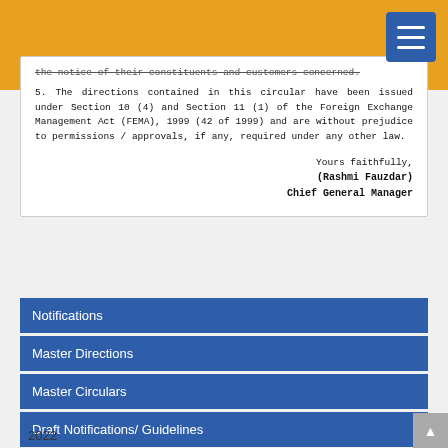the notice of their constituents and customers concerned.
5. The directions contained in this circular have been issued under Section 10 (4) and Section 11 (1) of the Foreign Exchange Management Act (FEMA), 1999 (42 of 1999) and are without prejudice to permissions / approvals, if any, required under any other law.
Yours faithfully,
(Rashmi Fauzdar)
Chief General Manager
Notifications
Master Directions
Master Circulars
Draft Notifications/ Guidelines
Index to RBI Circulars
2022